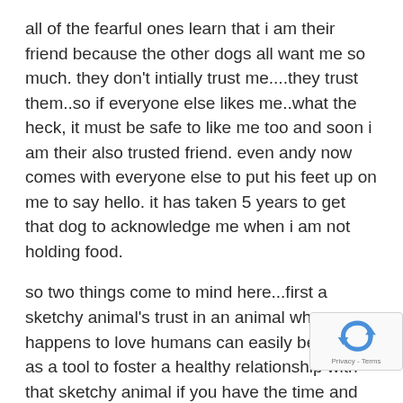all of the fearful ones learn that i am their friend because the other dogs all want me so much. they don't intially trust me....they trust them..so if everyone else likes me..what the heck, it must be safe to like me too and soon i am their also trusted friend. even andy now comes with everyone else to put his feet up on me to say hello. it has taken 5 years to get that dog to acknowledge me when i am not holding food.
so two things come to mind here...first a sketchy animal's trust in an animal who happens to love humans can easily be used as a tool to foster a healthy relationship with that sketchy animal if you have the time and patience to do this. (and the understanding that there is no crystal ball to see how far any relationship will go)
[Figure (logo): reCAPTCHA badge with blue arrow icon and Privacy - Terms text]